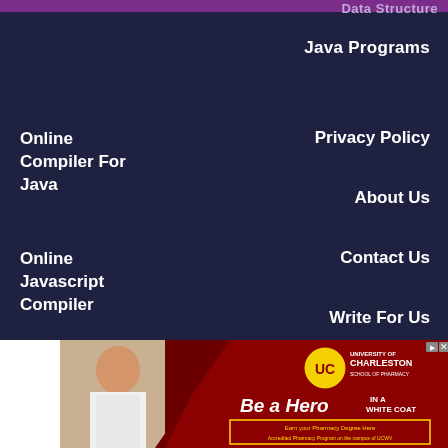Data Structure
Java Programs
Online Compiler For Java
Privacy Policy
About Us
Contact Us
Online Javascript Compiler
Write For Us
[Figure (photo): University of Charleston School of Pharmacy advertisement featuring a woman in a white coat with text 'Be a Hero IN A WHITE COAT - Earn your Pharmacy Degree Here - Accredited Pharmacy Program on the campus of UCWV']